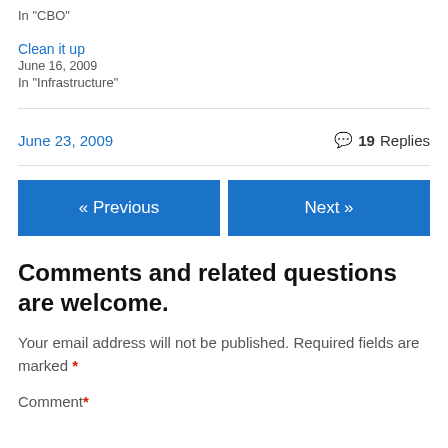In "CBO"
Clean it up
June 16, 2009
In "Infrastructure"
June 23, 2009
19 Replies
« Previous
Next »
Comments and related questions are welcome.
Your email address will not be published. Required fields are marked *
Comment *